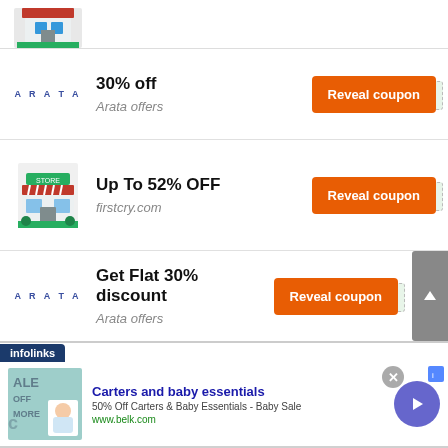[Figure (illustration): Partial view of a store/building illustration at the top of the page, cropped]
30% off — Arata offers — Reveal coupon
Up To 52% OFF — firstcry.com — Reveal coupon
Get Flat 30% discount — Arata offers — Reveal coupon
[Figure (screenshot): Infolinks advertisement banner: Carters and baby essentials, 50% Off Carters & Baby Essentials - Baby Sale, www.belk.com]